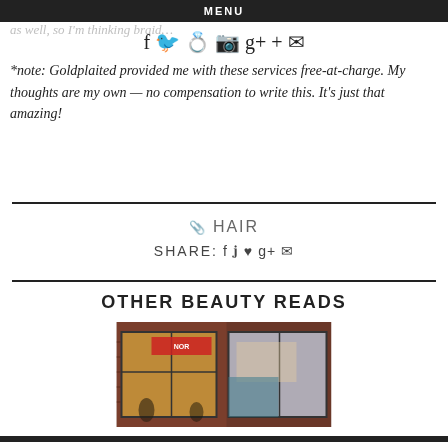MENU
as well, so I'm thinking braid…
*note: Goldplaited provided me with these services free-at-charge. My thoughts are my own — no compensation to write this. It's just that amazing!
HAIR
SHARE: f y p g+ ✉
OTHER BEAUTY READS
[Figure (photo): Storefront photo showing a brick building with large windows and signage, people visible inside]